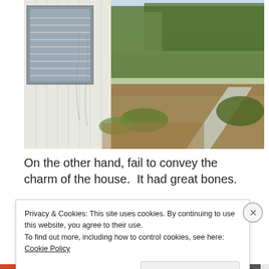[Figure (photo): Outdoor photo showing the side of a white wood-siding house with a window and venetian blinds. A concrete path leads to the backyard area, which is covered with dry brown leaves and sparse vegetation. Trees and brush are visible in the background under a partly cloudy sky.]
On the other hand, fail to convey the charm of the house.  It had great bones.
Privacy & Cookies: This site uses cookies. By continuing to use this website, you agree to their use.
To find out more, including how to control cookies, see here: Cookie Policy
[Close and accept]